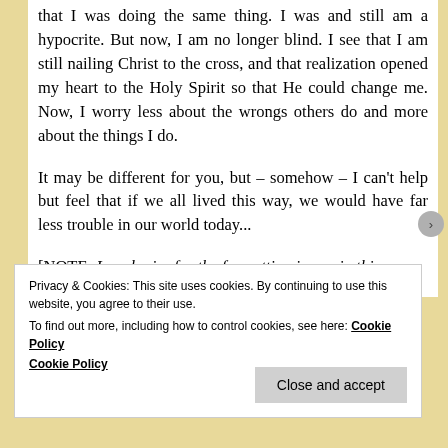that I was doing the same thing. I was and still am a hypocrite. But now, I am no longer blind. I see that I am still nailing Christ to the cross, and that realization opened my heart to the Holy Spirit so that He could change me. Now, I worry less about the wrongs others do and more about the things I do.
It may be different for you, but – somehow – I can't help but feel that if we all lived this way, we would have far less trouble in our world today...
[NOTE: I apologize for the formatting issues in this
Privacy & Cookies: This site uses cookies. By continuing to use this website, you agree to their use.
To find out more, including how to control cookies, see here: Cookie Policy